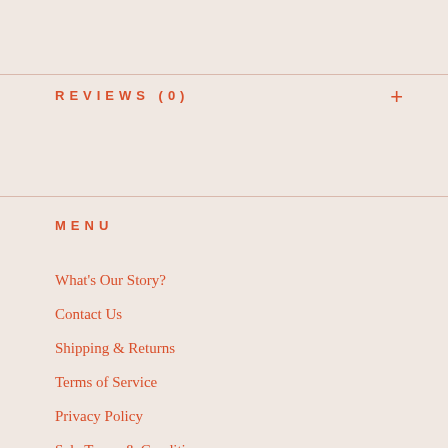REVIEWS (0)
MENU
What's Our Story?
Contact Us
Shipping & Returns
Terms of Service
Privacy Policy
Sale Terms & Conditions